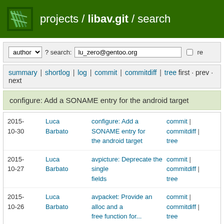projects / libav.git / search
author ? search: lu_zero@gentoo.org re
summary | shortlog | log | commit | commitdiff | tree first · prev · next
configure: Add a SONAME entry for the android target
| Date | Author | Message | Links |
| --- | --- | --- | --- |
| 2015-10-30 | Luca Barbato | configure: Add a SONAME entry for the android target | commit | commitdiff | tree |
| 2015-10-27 | Luca Barbato | avpicture: Deprecate the single fields | commit | commitdiff | tree |
| 2015-10-26 | Luca Barbato | avpacket: Provide an alloc and a free function for... | commit | commitdiff | tree |
| 2015-10-26 | Luca Barbato | avpacket: Deprecate av_dup_packet | commit | commitdiff | |